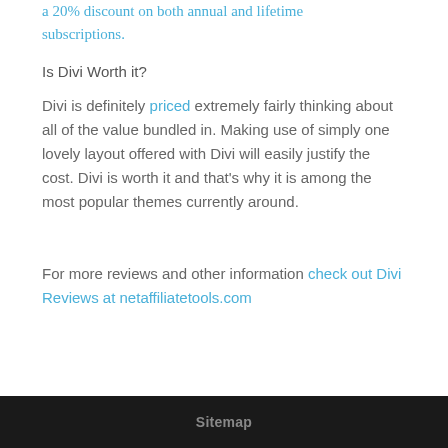a 20% discount on both annual and lifetime subscriptions.
Is Divi Worth it?
Divi is definitely priced extremely fairly thinking about all of the value bundled in. Making use of simply one lovely layout offered with Divi will easily justify the cost. Divi is worth it and that's why it is among the most popular themes currently around.
For more reviews and other information check out Divi Reviews at netaffiliatetools.com
Sitemap